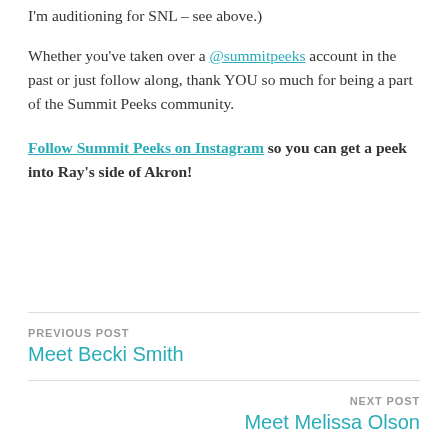I'm auditioning for SNL – see above.)
Whether you've taken over a @summitpeeks account in the past or just follow along, thank YOU so much for being a part of the Summit Peeks community.
Follow Summit Peeks on Instagram so you can get a peek into Ray's side of Akron!
PREVIOUS POST
Meet Becki Smith
NEXT POST
Meet Melissa Olson